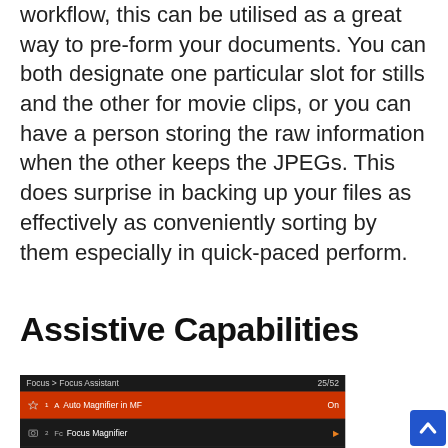workflow, this can be utilised as a great way to pre-form your documents. You can both designate one particular slot for stills and the other for movie clips, or you can have a person storing the raw information when the other keeps the JPEGs. This does surprise in backing up your files as effectively as conveniently sorting by them especially in quick-paced perform.
Assistive Capabilities
[Figure (screenshot): Camera menu screenshot showing Focus > Focus Assistant menu (25/52). Rows: 1 - Auto Magnifier in MF (On, highlighted in orange/red); 2 - Focus Magnifier (arrow); 3 - Focus Magnif. Time (No Limit, orange); 4 - Initial Focus Mag. (x1.0, orange). Blue scroll button in bottom right.]